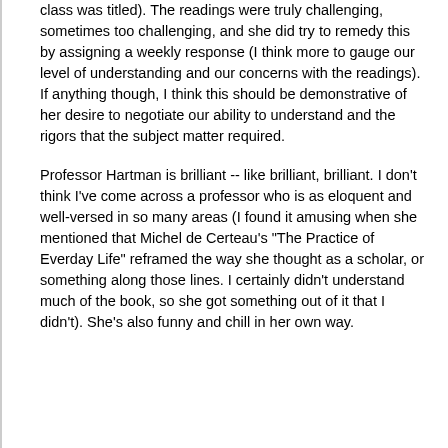class was titled). The readings were truly challenging, sometimes too challenging, and she did try to remedy this by assigning a weekly response (I think more to gauge our level of understanding and our concerns with the readings). If anything though, I think this should be demonstrative of her desire to negotiate our ability to understand and the rigors that the subject matter required.
Professor Hartman is brilliant -- like brilliant, brilliant. I don't think I've come across a professor who is as eloquent and well-versed in so many areas (I found it amusing when she mentioned that Michel de Certeau's "The Practice of Everday Life" reframed the way she thought as a scholar, or something along those lines. I certainly didn't understand much of the book, so she got something out of it that I didn't). She's also funny and chill in her own way.